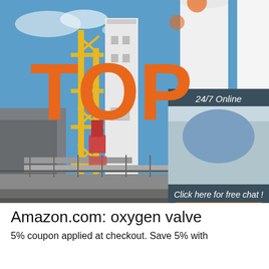[Figure (photo): Industrial facility with tall white cylindrical storage tanks and yellow metal scaffolding/tower structure against a blue sky. An overlay panel shows a customer service agent with headset, with '24/7 Online' header and 'Click here for free chat! QUOTATION' button. A TOP badge with orange dots appears bottom right.]
Amazon.com: oxygen valve
5% coupon applied at checkout. Save 5% with